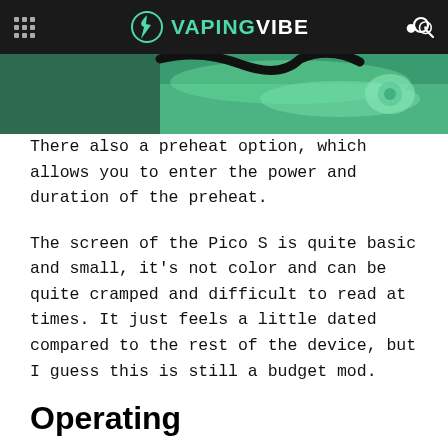VAPINGVIBE
[Figure (photo): Close-up photo of a vaping device with green/teal coloring and cable]
There also a preheat option, which allows you to enter the power and duration of the preheat.
The screen of the Pico S is quite basic and small, it's not color and can be quite cramped and difficult to read at times. It just feels a little dated compared to the rest of the device, but I guess this is still a budget mod.
Operating
Using the Pico S is fairly easy, although I'm not